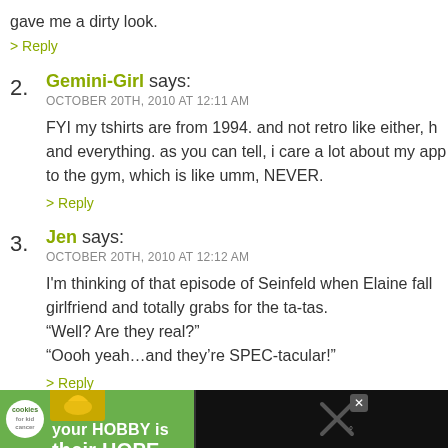gave me a dirty look.
> Reply
2. Gemini-Girl says: OCTOBER 20TH, 2010 AT 12:11 AM — FYI my tshirts are from 1994. and not retro like either, h and everything. as you can tell, i care a lot about my app to the gym, which is like umm, NEVER.
> Reply
3. Jen says: OCTOBER 20TH, 2010 AT 12:12 AM — I'm thinking of that episode of Seinfeld when Elaine fall girlfriend and totally grabs for the ta-tas. "Well? Are they real?" "Oooh yeah...and they're SPEC-tacular!"
> Reply
[Figure (infographic): Advertisement banner: cookies for kid cancer charity with text 'your HOBBY is their HOPE' on green background, with close button and hourglass icon on dark right side]